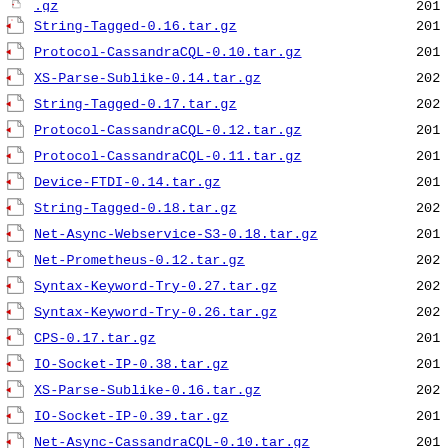String-Tagged-0.16.tar.gz  201
Protocol-CassandraCQL-0.10.tar.gz  201
XS-Parse-Sublike-0.14.tar.gz  202
String-Tagged-0.17.tar.gz  202
Protocol-CassandraCQL-0.12.tar.gz  201
Protocol-CassandraCQL-0.11.tar.gz  201
Device-FTDI-0.14.tar.gz  201
String-Tagged-0.18.tar.gz  202
Net-Async-Webservice-S3-0.18.tar.gz  201
Net-Prometheus-0.12.tar.gz  202
Syntax-Keyword-Try-0.27.tar.gz  202
Syntax-Keyword-Try-0.26.tar.gz  202
CPS-0.17.tar.gz  201
IO-Socket-IP-0.38.tar.gz  201
XS-Parse-Sublike-0.16.tar.gz  202
IO-Socket-IP-0.39.tar.gz  201
Net-Async-CassandraCQL-0.10.tar.gz  201